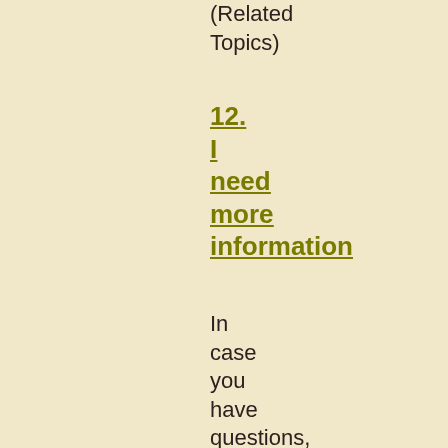(Related Topics)
12. I need more information
In case you have questions, feel free to post them in our taxes